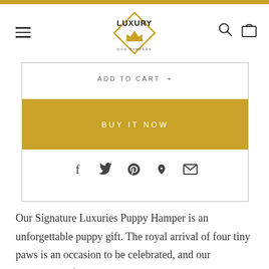LUXURY DOG HAMPERS
ADD TO CART +
BUY IT NOW
[Figure (other): Social share icons: Facebook, Twitter, Pinterest, Fancy, Email]
Our Signature Luxuries Puppy Hamper is an unforgettable puppy gift. The royal arrival of four tiny paws is an occasion to be celebrated, and our marvellous hamper is just the ticket.

When you gift a luxury puppy hamper you can be certain that everything inside is puppy safe and fit